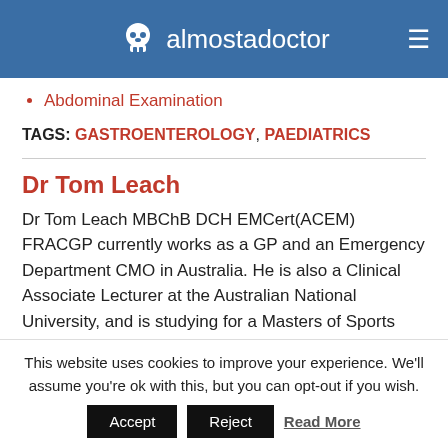almostadoctor
Abdominal Examination
TAGS: GASTROENTEROLOGY, PAEDIATRICS
Dr Tom Leach
Dr Tom Leach MBChB DCH EMCert(ACEM) FRACGP currently works as a GP and an Emergency Department CMO in Australia. He is also a Clinical Associate Lecturer at the Australian National University, and is studying for a Masters of Sports Medicine at the
This website uses cookies to improve your experience. We'll assume you're ok with this, but you can opt-out if you wish.